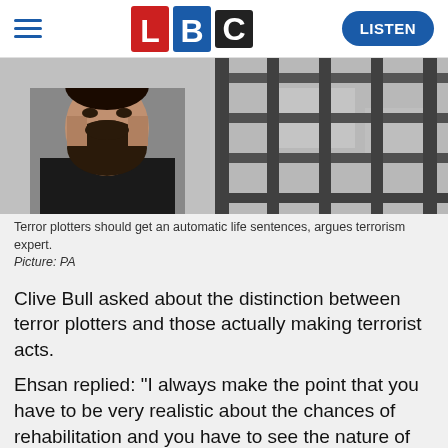LBC | LISTEN
[Figure (photo): Left: mugshot-style photo of a bearded man in black. Right: black and white photo of prison bars.]
Terror plotters should get an automatic life sentences, argues terrorism expert. Picture: PA
Clive Bull asked about the distinction between terror plotters and those actually making terrorist acts.
Ehsan replied: "I always make the point that you have to be very realistic about the chances of rehabilitation and you have to see the nature of the crime.
"Now we're looking at Usman Khan, in particular, and we're